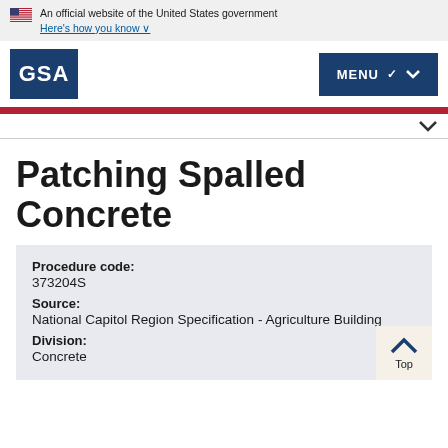An official website of the United States government
Here's how you know
[Figure (logo): GSA logo - white text on dark blue background]
Patching Spalled Concrete
Procedure code:
373204S
Source:
National Capitol Region Specification - Agriculture Building
Division:
Concrete